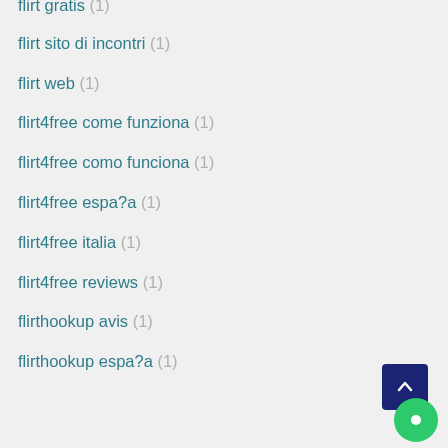flirt gratis (1)
flirt sito di incontri (1)
flirt web (1)
flirt4free come funziona (1)
flirt4free como funciona (1)
flirt4free espa?a (1)
flirt4free italia (1)
flirt4free reviews (1)
flirthookup avis (1)
flirthookup espa?a (1)